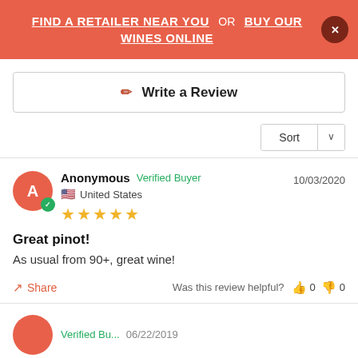FIND A RETAILER NEAR YOU OR BUY OUR WINES ONLINE
Write a Review
Sort
Anonymous  Verified Buyer  10/03/2020
United States
★★★★★
Great pinot!
As usual from 90+, great wine!
Share  Was this review helpful?  👍 0  👎 0